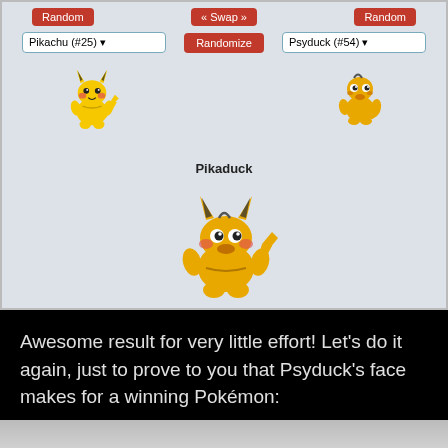[Figure (screenshot): Pokemon fusion web app screenshot showing Pikachu (#25) and Psyduck (#54) selectors with Random and Swap buttons, their individual sprites, and the fused result labeled 'Pikaduck' — a Pikachu body with Psyduck's face]
Awesome result for very little effort! Let's do it again, just to prove to you that Psyduck's face makes for a winning Pokémon: